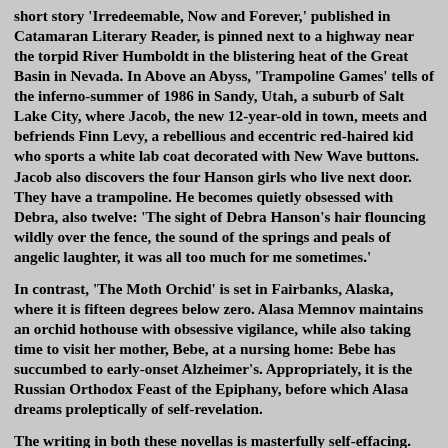short story 'Irredeemable, Now and Forever,' published in Catamaran Literary Reader, is pinned next to a highway near the torpid River Humboldt in the blistering heat of the Great Basin in Nevada. In Above an Abyss, 'Trampoline Games' tells of the inferno-summer of 1986 in Sandy, Utah, a suburb of Salt Lake City, where Jacob, the new 12-year-old in town, meets and befriends Finn Levy, a rebellious and eccentric red-haired kid who sports a white lab coat decorated with New Wave buttons. Jacob also discovers the four Hanson girls who live next door. They have a trampoline. He becomes quietly obsessed with Debra, also twelve: 'The sight of Debra Hanson's hair flouncing wildly over the fence, the sound of the springs and peals of angelic laughter, it was all too much for me sometimes.'
In contrast, 'The Moth Orchid' is set in Fairbanks, Alaska, where it is fifteen degrees below zero. Alasa Memnov maintains an orchid hothouse with obsessive vigilance, while also taking time to visit her mother, Bebe, at a nursing home: Bebe has succumbed to early-onset Alzheimer's. Appropriately, it is the Russian Orthodox Feast of the Epiphany, before which Alasa dreams proleptically of self-revelation.
The writing in both these novellas is masterfully self-effacing. Nothing is forced and nothing draws attention to itself, yet it is all perfect, natural, necessary. It reminds me of the films of